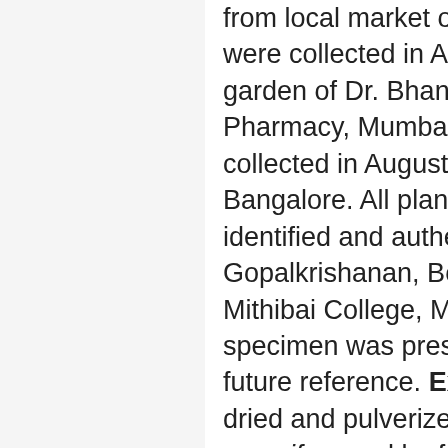from local market of Mumbai. Leaves of Tulsi were collected in August 2014 from botanical garden of Dr. Bhanuben Nanavati College of Pharmacy, Mumbai. Haldi extract was collected in August 2014 from Sami labs, Bangalore. All plants were taxonomically identified and authenticated by Dr. Bindu Gopalkrishanan, Botany department at Mithibai College, Mumbai. The sample specimen was preserved in our laboratory for future reference. Extraction Procedure: The dried and pulverized roots of Withania smonifera and leaf of Ocimum sanctum about 100 g was extracted